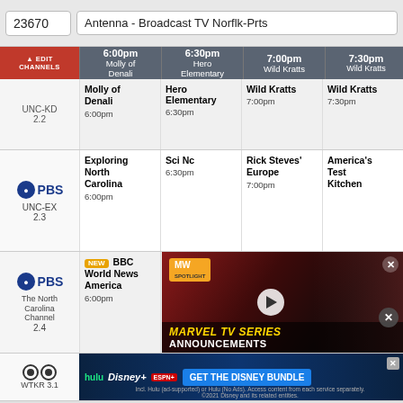23670   Antenna - Broadcast TV Norflk-Prts
| EDIT CHANNELS | 6:00pm | 6:30pm | 7:00pm | 7:30pm |
| --- | --- | --- | --- | --- |
| UNC-KD 2.2 | Molly of Denali 6:00pm | Hero Elementary 6:30pm | Wild Kratts 7:00pm | Wild Kratts 7:30pm |
| PBS UNC-EX 2.3 | Exploring North Carolina 6:00pm | Sci Nc 6:30pm | Rick Steves' Europe 7:00pm | America's Test Kitchen |
| PBS The North Carolina Channel 2.4 | NEW BBC World News America 6:00pm | BBC World News Outside Source 6:30pm |  |  |
| CBS WTKR 3.1 | 3 News at 6 6:00pm | Evening News With | Edition 7:00pm | he List 7:30pm |
[Figure (screenshot): Marvel TV Series Announcements video ad overlay with MW Spotlight badge, play button, and woman in background]
[Figure (screenshot): Disney Bundle advertisement banner with Hulu, Disney+, ESPN+ logos and GET THE DISNEY BUNDLE CTA button]